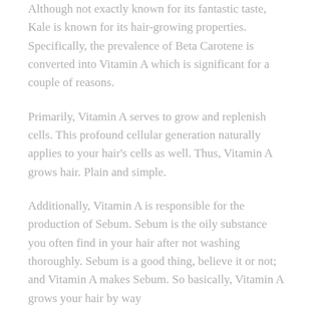Although not exactly known for its fantastic taste, Kale is known for its hair-growing properties. Specifically, the prevalence of Beta Carotene is converted into Vitamin A which is significant for a couple of reasons.
Primarily, Vitamin A serves to grow and replenish cells. This profound cellular generation naturally applies to your hair's cells as well. Thus, Vitamin A grows hair. Plain and simple.
Additionally, Vitamin A is responsible for the production of Sebum. Sebum is the oily substance you often find in your hair after not washing thoroughly. Sebum is a good thing, believe it or not; and Vitamin A makes Sebum. So basically, Vitamin A grows your hair by way